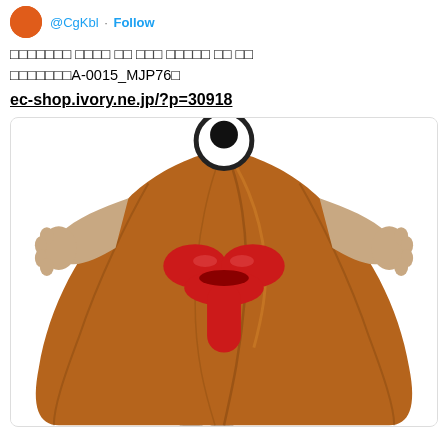@CgKbl · Follow
□□□□□□□ □□□□ □□ □□□ □□□□□ □□ □□ □□□□□□□A-0015_MJP76□
ec-shop.ivory.ne.jp/?p=30918
[Figure (photo): Person wearing a large brown character costume dress with red lips/mouth decoration and a round black-and-white head piece at the top]